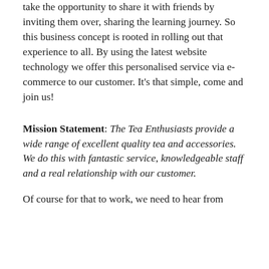take the opportunity to share it with friends by inviting them over, sharing the learning journey. So this business concept is rooted in rolling out that experience to all. By using the latest website technology we offer this personalised service via e-commerce to our customer. It's that simple, come and join us!
Mission Statement: The Tea Enthusiasts provide a wide range of excellent quality tea and accessories. We do this with fantastic service, knowledgeable staff and a real relationship with our customer.
Of course for that to work, we need to hear from